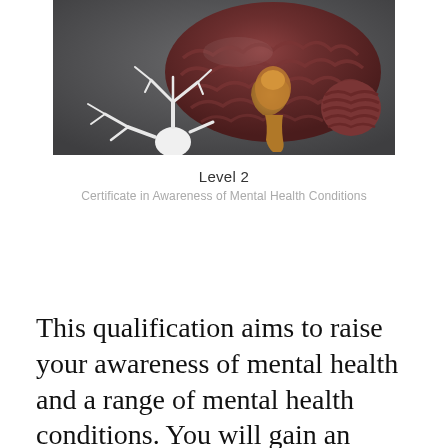[Figure (photo): A photograph of an anatomical brain model (cross-section showing internal structures in dark red/brown and golden-tan colors) alongside a white neuron model, on a dark gray surface.]
Level 2
Certificate in Awareness of Mental Health Conditions
This qualification aims to raise your awareness of mental health and a range of mental health conditions. You will gain an understanding of prevalent